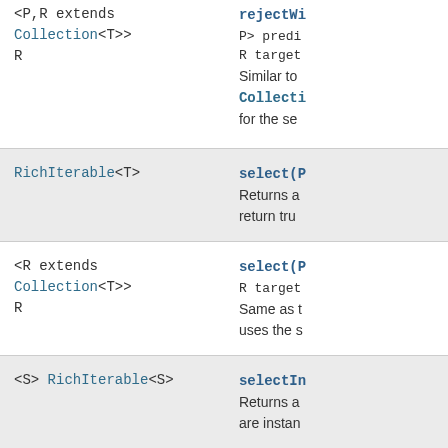| Type Parameters / Return | Method and Description |
| --- | --- |
| <P,R extends Collection<T>>
R | rejectWi...
P> predi...
R target...
Similar to Collection...
for the se... |
| RichIterable<T> | select(P...
Returns a...
return tru... |
| <R extends Collection<T>>
R | select(P...
R target...
Same as t...
uses the s... |
| <S> RichIterable<S> | selectIn...
Returns a...
are instan... |
| <P> RichIterable<T> | selectWi...
P> predi...
Similar t... |